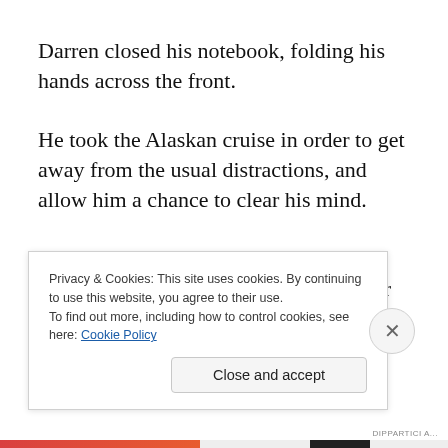Darren closed his notebook, folding his hands across the front.
He took the Alaskan cruise in order to get away from the usual distractions, and allow him a chance to clear his mind.
The cool sea air wisped around him, bathing him in the ideas that he tried for years to put on paper. From the
Privacy & Cookies: This site uses cookies. By continuing to use this website, you agree to their use.
To find out more, including how to control cookies, see here: Cookie Policy
Close and accept